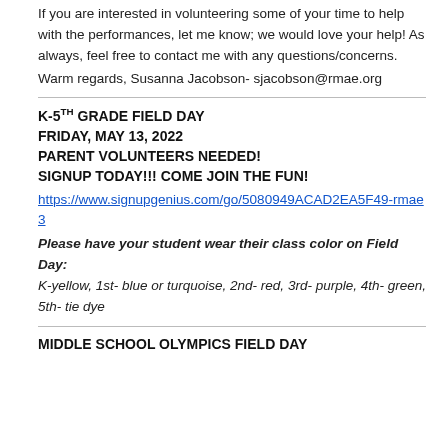If you are interested in volunteering some of your time to help with the performances, let me know; we would love your help! As always, feel free to contact me with any questions/concerns.
Warm regards, Susanna Jacobson- sjacobson@rmae.org
K-5TH GRADE FIELD DAY
FRIDAY, MAY 13, 2022
PARENT VOLUNTEERS NEEDED!
SIGNUP TODAY!!! COME JOIN THE FUN!
https://www.signupgenius.com/go/5080949ACAD2EA5F49-rmae3
Please have your student wear their class color on Field Day:
K-yellow, 1st- blue or turquoise, 2nd- red, 3rd- purple, 4th- green, 5th- tie dye
MIDDLE SCHOOL OLYMPICS FIELD DAY